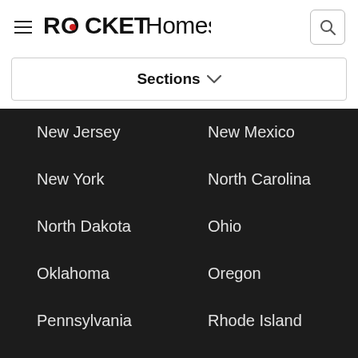ROCKET Homes
Sections
New Jersey
New Mexico
New York
North Carolina
North Dakota
Ohio
Oklahoma
Oregon
Pennsylvania
Rhode Island
South Carolina
South Dakota
Tennessee
Texas